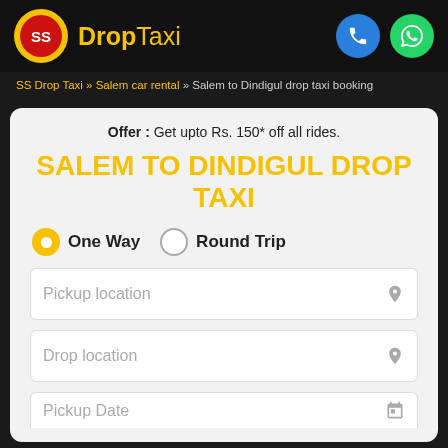SS DropTaxi
SS Drop Taxi » Salem car rental » Salem to Dindigul drop taxi booking
Offer : Get upto Rs. 150* off all rides.
SALEM TO DINDIGUL DROP TAXI
One Way  Round Trip
Pickup location
Drop location
Pickup Date